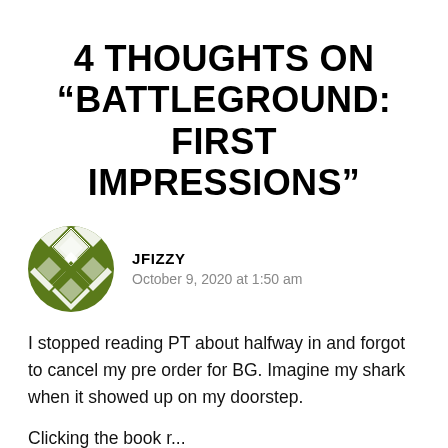4 THOUGHTS ON “BATTLEGROUND: FIRST IMPRESSIONS”
[Figure (illustration): Circular avatar icon with a green geometric/diamond quilt pattern on a white background]
JFIZZY
October 9, 2020 at 1:50 am
I stopped reading PT about halfway in and forgot to cancel my pre order for BG. Imagine my shark when it showed up on my doorstep.
Clicking the book r...